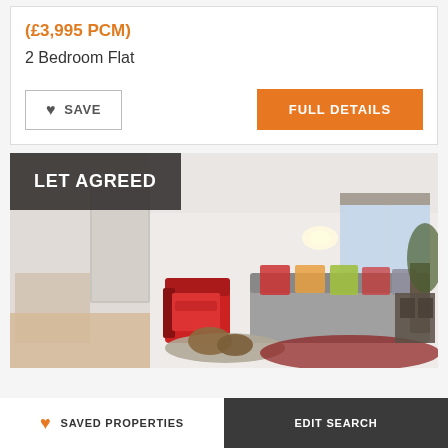(£3,995 PCM)
2 Bedroom Flat
SAVE
FULL DETAILS
[Figure (photo): Interior photo of a bright modern flat living room with white walls, red accent chair, colourful sofa, rug, and large windows. Overlaid with 'LET AGREED' badge in dark semi-transparent box.]
LET AGREED
SAVED PROPERTIES
EDIT SEARCH